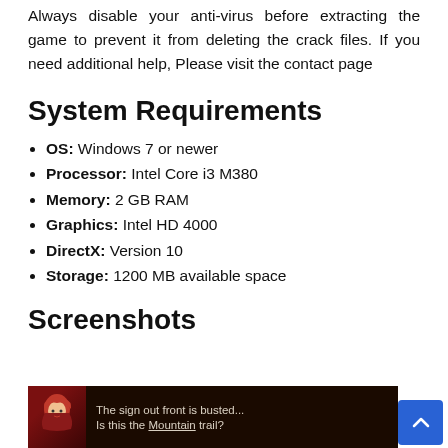Always disable your anti-virus before extracting the game to prevent it from deleting the crack files. If you need additional help, Please visit the contact page
System Requirements
OS: Windows 7 or newer
Processor: Intel Core i3 M380
Memory: 2 GB RAM
Graphics: Intel HD 4000
DirectX: Version 10
Storage: 1200 MB available space
Screenshots
[Figure (screenshot): Game screenshot showing a character with red hair and dark background, with text: 'The sign out front is busted... Is this the Mountain trail?']